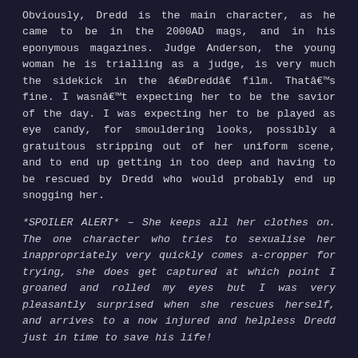Obviously, Dredd is the main character, as he came to be in the 2000AD mags, and in his eponymous magazines. Judge Anderson, the young woman he is trialling as a judge, is very much the sidekick in the â€œDreddâ€ film. Thatâ€™s fine. I wasnâ€™t expecting her to be the savior of the day. I was expecting her to be played as eye candy, for smouldering looks, possibly a gratuitous stripping out of her uniform scene, and to end up getting in too deep and having to be rescued by Dredd who would probably end up snogging her.
*SPOILER ALERT* – She keeps all her clothes on. The one character who tries to sexualise her inappropriately very quickly comes a-cropper for trying, she does get captured at which point I groaned and rolled my eyes but I was very pleasantly surprised when she rescues herself, and arrives to a now injured and helpless Dredd just in time to save his life!
Iâ€™d like to see more films that show their female characters as more than tokens. However, what Iâ€™ve found out, is that there has been a backlash against these ideas being incorporated, and women being given more empowered roles in â€œFury Roadâ€, with the Return of Kings website spearheading a campaign to boycott the â€œfeminist